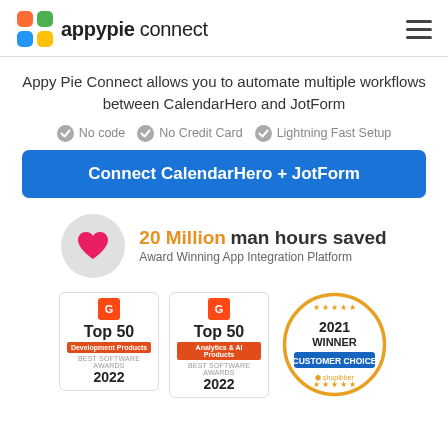appypie connect
Appy Pie Connect allows you to automate multiple workflows between CalendarHero and JotForm
No code
No Credit Card
Lightning Fast Setup
Connect CalendarHero + JotForm
20 Million man hours saved
Award Winning App Integration Platform
[Figure (logo): G2 Top 50 Development Products Best Software Awards 2022 badge]
[Figure (logo): G2 Top 50 Analytics & AI Products Best Software Awards 2022 badge]
[Figure (logo): 2021 Winner Customer Choice Shopibber award badge]